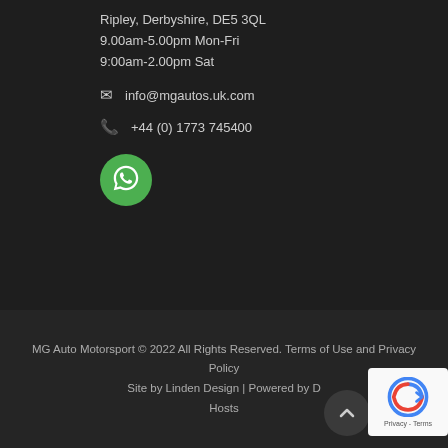Ripley, Derbyshire, DE5 3QL
9.00am-5.00pm Mon-Fri
9:00am-2.00pm Sat
info@mgautos.uk.com
+44 (0) 1773 745400
[Figure (logo): WhatsApp button - green circular button with WhatsApp logo]
MG Auto Motorsport © 2022 All Rights Reserved. Terms of Use and Privacy Policy Site by Linden Design | Powered by D Hosts
[Figure (other): reCAPTCHA badge with 'Privacy - Terms' text]